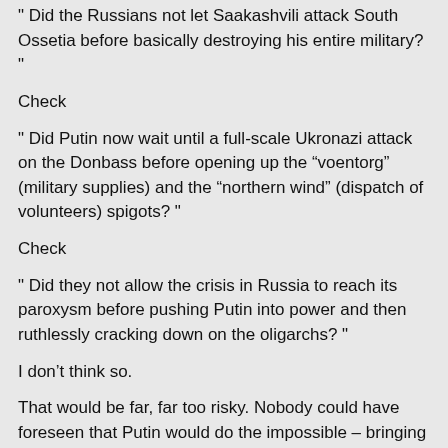" Did the Russians not let Saakashvili attack South Ossetia before basically destroying his entire military? "
Check
" Did Putin now wait until a full-scale Ukronazi attack on the Donbass before opening up the “voentorg” (military supplies) and the “northern wind” (dispatch of volunteers) spigots? "
Check
" Did they not allow the crisis in Russia to reach its paroxysm before pushing Putin into power and then ruthlessly cracking down on the oligarchs? "
I don’t think so.
That would be far, far too risky. Nobody could have foreseen that Putin would do the impossible – bringing Russia back from the edge.
On a side note: What Putin did was exactly not ‘ruthlessly’